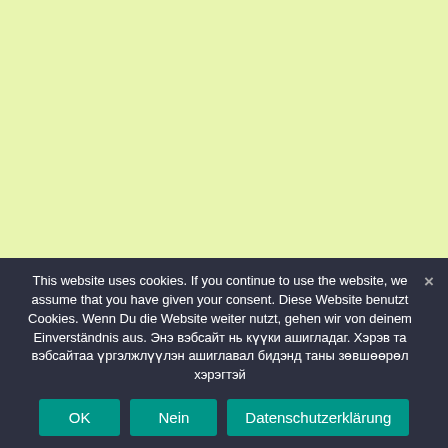[Figure (other): Light yellow-green background area filling the top portion of the page]
This website uses cookies. If you continue to use the website, we assume that you have given your consent. Diese Website benutzt Cookies. Wenn Du die Website weiter nutzt, gehen wir von deinem Einverständnis aus. Энэ вэбсайт нь күүки ашигладаг. Хэрэв та вэбсайтаа үргэлжлүүлэн ашиглавал бидэнд таны зөвшөөрөл хэрэгтэй
×
OK
Nein
Datenschutzerklärung